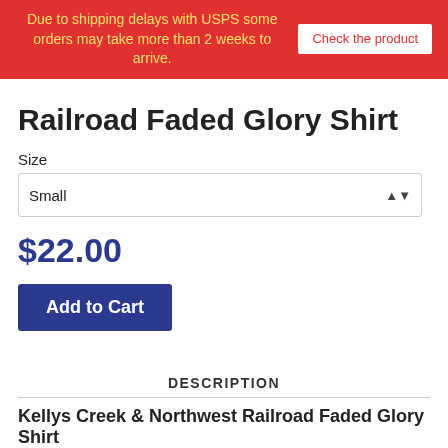Due to shipping delays with USPS some orders may take more than 2 weeks to arrive. Check the product
Railroad Faded Glory Shirt
Size
Small
$22.00
Add to Cart
DESCRIPTION
Kellys Creek & Northwest Railroad Faded Glory Shirt